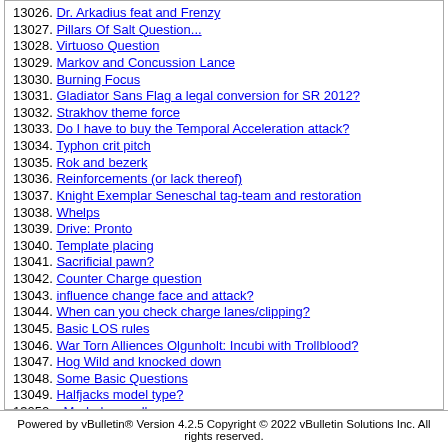13026. Dr. Arkadius feat and Frenzy
13027. Pillars Of Salt Question...
13028. Virtuoso Question
13029. Markov and Concussion Lance
13030. Burning Focus
13031. Gladiator Sans Flag a legal conversion for SR 2012?
13032. Strakhov theme force
13033. Do I have to buy the Temporal Acceleration attack?
13034. Typhon crit pitch
13035. Rok and bezerk
13036. Reinforcements (or lack thereof)
13037. Knight Exemplar Seneschal tag-team and restoration
13038. Whelps
13039. Drive: Pronto
13040. Template placing
13041. Sacrificial pawn?
13042. Counter Charge question
13043. influence change face and attack?
13044. When can you check charge lanes/clipping?
13045. Basic LOS rules
13046. War Torn Alliences Olgunholt: Incubi with Trollblood?
13047. Hog Wild and knocked down
13048. Some Basic Questions
13049. Halfjacks model type?
13050. pMadraks scroll
Powered by vBulletin® Version 4.2.5 Copyright © 2022 vBulletin Solutions Inc. All rights reserved.